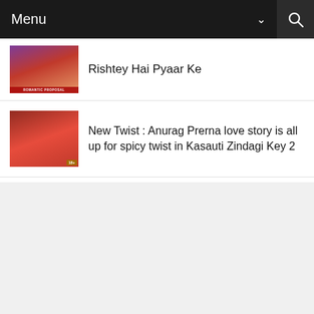Menu
Rishtey Hai Pyaar Ke
New Twist : Anurag Prerna love story is all up for spicy twist in Kasauti Zindagi Key 2